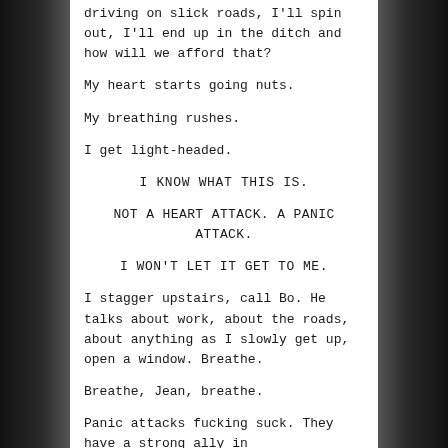driving on slick roads, I'll spin out, I'll end up in the ditch and how will we afford that?
My heart starts going nuts.
My breathing rushes.
I get light-headed.
I KNOW WHAT THIS IS.
NOT A HEART ATTACK. A PANIC ATTACK.
I WON'T LET IT GET TO ME.
I stagger upstairs, call Bo. He talks about work, about the roads, about anything as I slowly get up, open a window. Breathe.
Breathe, Jean, breathe.
Panic attacks fucking suck. They have a strong ally in